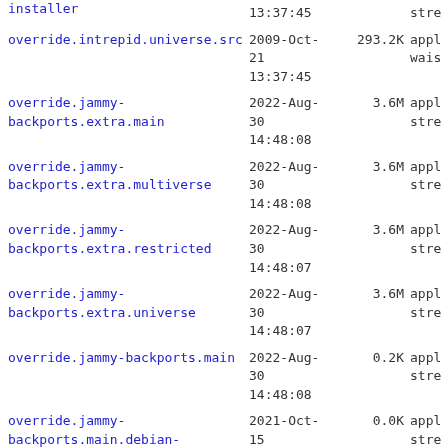| Name | Date | Size | Type |
| --- | --- | --- | --- |
| installer | 13:37:45 |  | stre |
| override.intrepid.universe.src | 2009-Oct-21
13:37:45 | 293.2K | appl
wais |
| override.jammy-backports.extra.main | 2022-Aug-30
14:48:08 | 3.6M | appl
stre |
| override.jammy-backports.extra.multiverse | 2022-Aug-30
14:48:08 | 3.6M | appl
stre |
| override.jammy-backports.extra.restricted | 2022-Aug-30
14:48:07 | 3.6M | appl
stre |
| override.jammy-backports.extra.universe | 2022-Aug-30
14:48:07 | 3.6M | appl
stre |
| override.jammy-backports.main | 2022-Aug-30
14:48:08 | 0.2K | appl
stre |
| override.jammy-backports.main.debian-installer | 2021-Oct-15
08:08:23 | 0.0K | appl
stre |
| override.jammy-backports.main.src | 2022-Aug-30
14:48:08 | 0.1K | appl
wais |
| override.jammy-backports.multiverse | 2022-Aug-30
14:48:07 | 0.0K | appl
stre |
| override.jammy-backports.multiverse.debian-installer | 2021-Oct-15
08:08:23 | 0.0K | appl
stre |
| override.jammy- | 2022-Aug- |  |  |